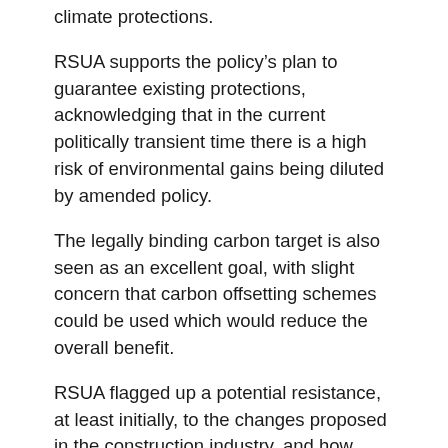climate protections.
RSUA supports the policy’s plan to guarantee existing protections, acknowledging that in the current politically transient time there is a high risk of environmental gains being diluted by amended policy.
The legally binding carbon target is also seen as an excellent goal, with slight concern that carbon offsetting schemes could be used which would reduce the overall benefit.
RSUA flagged up a potential resistance, at least initially, to the changes proposed in the construction industry, and how these may be overcome by offering alternative selling points like improved occupant comfort rather than the environmental benefits.
Thanks are due to RSUA Climate Emergency